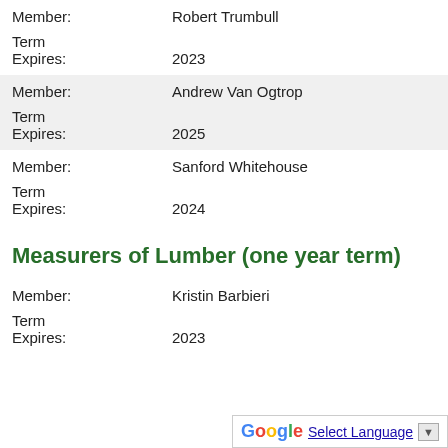| Member: | Robert Trumbull |
| Term Expires: | 2023 |
| Member: | Andrew Van Ogtrop |
| Term Expires: | 2025 |
| Member: | Sanford Whitehouse |
| Term Expires: | 2024 |
Measurers of Lumber (one year term)
| Member: | Kristin Barbieri |
| Term Expires: | 2023 |